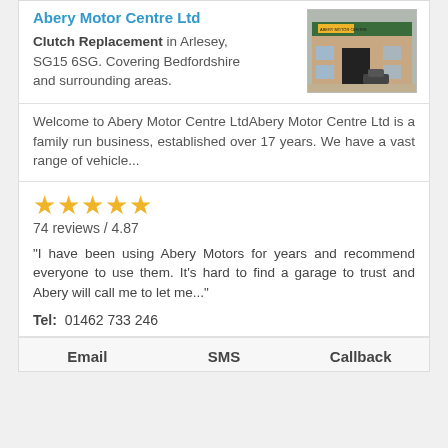Abery Motor Centre Ltd
Clutch Replacement in Arlesey, SG15 6SG. Covering Bedfordshire and surrounding areas.
[Figure (photo): Exterior photo of Abery Motor Centre building with green roof and brick walls, with a yellow sign visible.]
Welcome to Abery Motor Centre LtdAbery Motor Centre Ltd is a family run business, established over 17 years. We have a vast range of vehicle...
74 reviews / 4.87
"I have been using Abery Motors for years and recommend everyone to use them. It's hard to find a garage to trust and Abery will call me to let me..."
Tel: 01462 733 246
Email   SMS   Callback